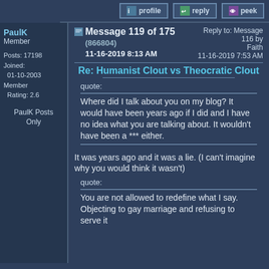profile | reply | peek
PaulK
Member

Posts: 17198
Joined:
01-10-2003
Member
Rating: 2.6

PaulK Posts Only
Message 119 of 175 (866804)
11-16-2019 8:13 AM
Reply to: Message 116 by Faith
11-16-2019 7:53 AM
Re: Humanist Clout vs Theocratic Clout
quote:
Where did I talk about you on my blog? It would have been years ago if I did and I have no idea what you are talking about. It wouldn't have been a *** either.
It was years ago and it was a lie. (I can't imagine why you would think it wasn't)
quote:
You are not allowed to redefine what I say. Objecting to gay marriage and refusing to serve it